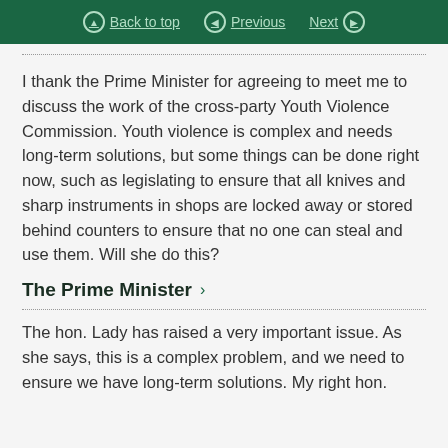Back to top  Previous  Next
I thank the Prime Minister for agreeing to meet me to discuss the work of the cross-party Youth Violence Commission. Youth violence is complex and needs long-term solutions, but some things can be done right now, such as legislating to ensure that all knives and sharp instruments in shops are locked away or stored behind counters to ensure that no one can steal and use them. Will she do this?
The Prime Minister
The hon. Lady has raised a very important issue. As she says, this is a complex problem, and we need to ensure we have long-term solutions. My right hon.